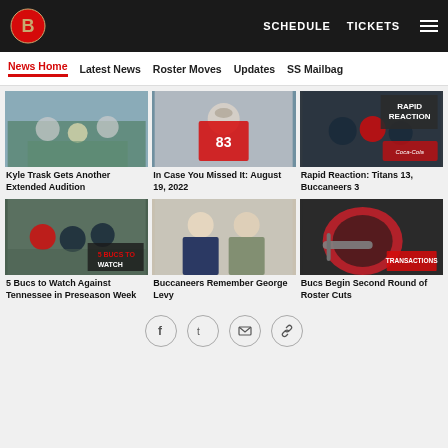Tampa Bay Buccaneers – SCHEDULE  TICKETS
News Home  Latest News  Roster Moves  Updates  SS Mailbag
[Figure (photo): Football game action shot – Kyle Trask]
Kyle Trask Gets Another Extended Audition
[Figure (photo): Player #83 catching a football]
In Case You Missed It: August 19, 2022
[Figure (photo): Rapid Reaction game photo – Titans vs Buccaneers with Coca-Cola branding]
Rapid Reaction: Titans 13, Buccaneers 3
[Figure (photo): 5 Bucs to Watch – players running on field]
5 Bucs to Watch Against Tennessee in Preseason Week
[Figure (photo): Two men in suits – George Levy memorial photo]
Buccaneers Remember George Levy
[Figure (photo): Buccaneers helmet with Transactions overlay]
Bucs Begin Second Round of Roster Cuts